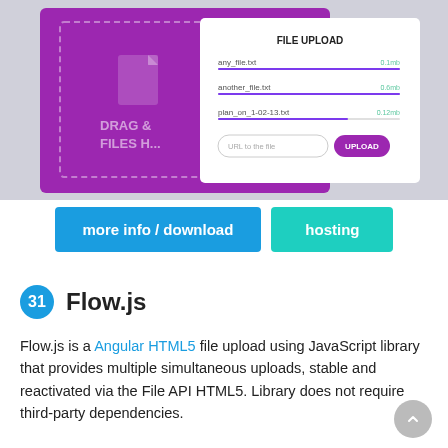[Figure (screenshot): Screenshot of a file upload UI with a purple drag-and-drop area and a white 'FILE UPLOAD' dialog showing files: any_file.txt, another_file.txt, plan_on_1-02-13.txt with progress bars, and a URL upload field with an UPLOAD button.]
more info / download
hosting
31  Flow.js
Flow.js is a Angular HTML5 file upload using JavaScript library that provides multiple simultaneous uploads, stable and reactivated via the File API HTML5. Library does not require third-party dependencies.